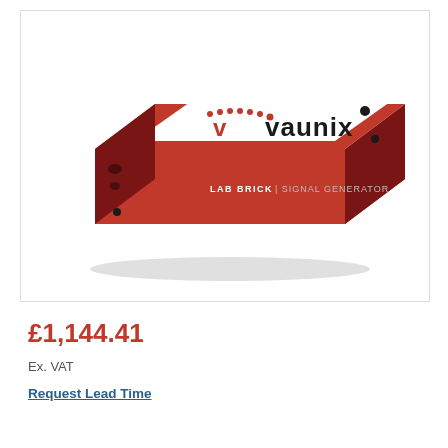[Figure (photo): Vaunix Lab Brick Signal Generator device — a red and white rectangular box with 'vaunix' branding on top and 'LAB BRICK | SIGNAL GENERATOR' text on the red front face.]
£1,144.41
Ex. VAT
Request Lead Time